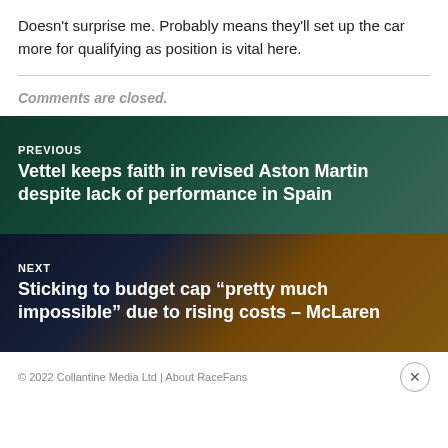Doesn't surprise me. Probably means they'll set up the car more for qualifying as position is vital here.
Comments are closed.
[Figure (photo): F1 Aston Martin car racing image, used as background for PREVIOUS navigation link]
PREVIOUS
Vettel keeps faith in revised Aston Martin despite lack of performance in Spain
[Figure (photo): F1 McLaren car racing image, used as background for NEXT navigation link]
NEXT
Sticking to budget cap “pretty much impossible” due to rising costs – McLaren
© 2022 Collantine Media Ltd | About RaceFans